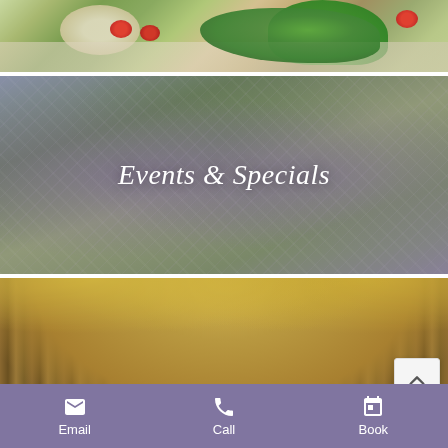[Figure (photo): Top portion of a food photo showing a plate with greens (lettuce), cherry tomatoes, and what appears to be an omelette or sandwich on a white plate]
[Figure (photo): Flowers and greenery photo with text overlay reading 'Events & Specials' in white italic script]
[Figure (photo): Autumn forest scene with golden-orange fall foliage and tree trunks, partially showing text 'Things To Do...' at the bottom]
Email  Call  Book